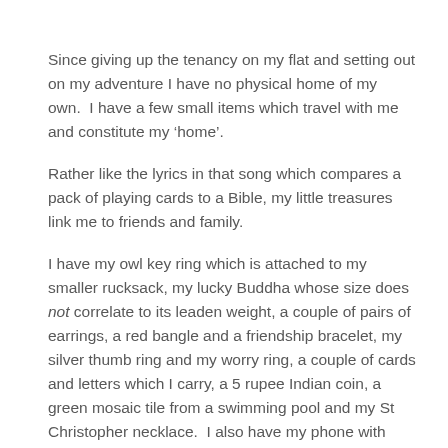Since giving up the tenancy on my flat and setting out on my adventure I have no physical home of my own.  I have a few small items which travel with me and constitute my ‘home’.
Rather like the lyrics in that song which compares a pack of playing cards to a Bible, my little treasures link me to friends and family.
I have my owl key ring which is attached to my smaller rucksack, my lucky Buddha whose size does not correlate to its leaden weight, a couple of pairs of earrings, a red bangle and a friendship bracelet, my silver thumb ring and my worry ring, a couple of cards and letters which I carry, a 5 rupee Indian coin, a green mosaic tile from a swimming pool and my St Christopher necklace.  I also have my phone with music